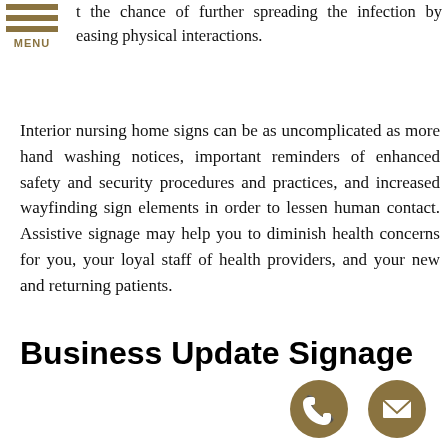MENU
t the chance of further spreading the infection by easing physical interactions.
Interior nursing home signs can be as uncomplicated as more hand washing notices, important reminders of enhanced safety and security procedures and practices, and increased wayfinding sign elements in order to lessen human contact. Assistive signage may help you to diminish health concerns for you, your loyal staff of health providers, and your new and returning patients.
Business Update Signage
[Figure (illustration): Phone icon - circular gold/brown button with telephone handset symbol]
[Figure (illustration): Email icon - circular gold/brown button with envelope symbol]